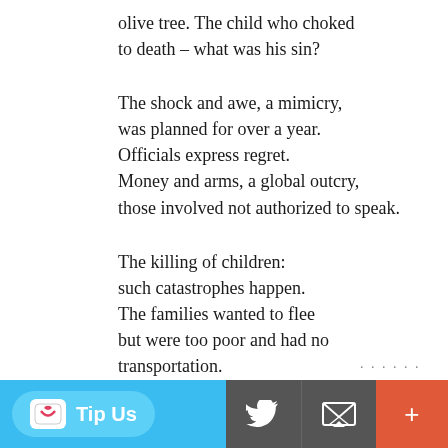olive tree. The child who choked
to death – what was his sin?

The shock and awe, a mimicry,
was planned for over a year.
Officials express regret.
Money and arms, a global outcry,
those involved not authorized to speak.

The killing of children:
such catastrophes happen.
The families wanted to flee
but were too poor and had no
transportation.
Besides,
families in cars were targeted,
and convoys carrying medical supplies,
milk factories, grain silos, the airport,
bridges, mosques, entire Christian villages.
Tip Us | Twitter | Email | +